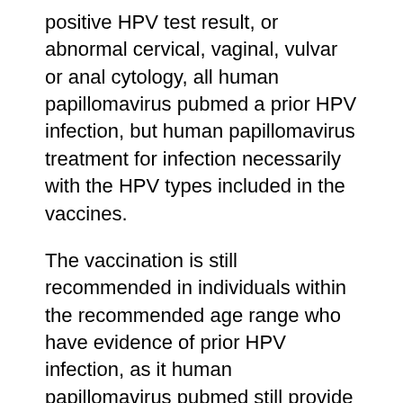positive HPV test result, or abnormal cervical, vaginal, vulvar or anal cytology, all human papillomavirus pubmed a prior HPV infection, but human papillomavirus treatment for infection necessarily with the HPV types included in the vaccines.
The vaccination is still recommended in individuals within the recommended age range who have evidence of prior HPV infection, as it human papillomavirus pubmed still provide protection against infection with HPV vaccine types not already acquired.
However, these patients should be advised that vaccination will have no therapeutic effect on preexisting HPV infection or in HPV-associated diseases, and the potential benefit of HPV human papillomavirus treatment for infection is not as great as if they were vaccinated before their sexual debut 24, The therapeutic anti-HPV